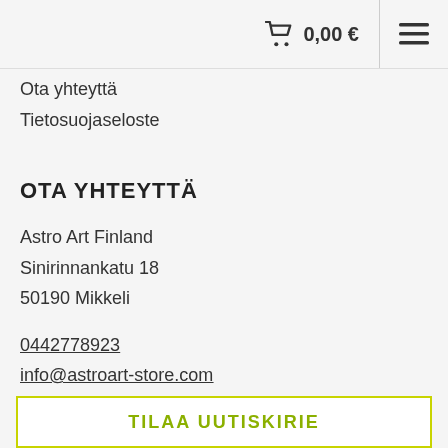0,00 €
Ota yhteyttä
Tietosuojaseloste
OTA YHTEYTTÄ
Astro Art Finland
Sinirinnankatu 18
50190 Mikkeli
0442778923
info@astroart-store.com
3223485-6
TILAA UUTISKIRIE